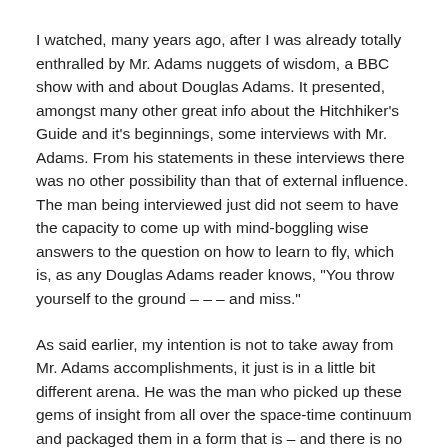I watched, many years ago, after I was already totally enthralled by Mr. Adams nuggets of wisdom, a BBC show with and about Douglas Adams. It presented, amongst many other great info about the Hitchhiker's Guide and it's beginnings, some interviews with Mr. Adams. From his statements in these interviews there was no other possibility than that of external influence. The man being interviewed just did not seem to have the capacity to come up with mind-boggling wise answers to the question on how to learn to fly, which is, as any Douglas Adams reader knows, "You throw yourself to the ground – – – and miss."
As said earlier, my intention is not to take away from Mr. Adams accomplishments, it just is in a little bit different arena. He was the man who picked up these gems of insight from all over the space-time continuum and packaged them in a form that is – and there is no other more fitting word – mind-boggling.